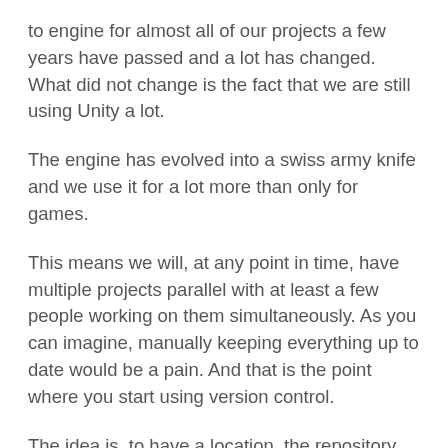to engine for almost all of our projects a few years have passed and a lot has changed. What did not change is the fact that we are still using Unity a lot.
The engine has evolved into a swiss army knife and we use it for a lot more than only for games.
This means we will, at any point in time, have multiple projects parallel with at least a few people working on them simultaneously. As you can imagine, manually keeping everything up to date would be a pain. And that is the point where you start using version control.
The idea is, to have a location, the repository, where the project is stored and which keeps track of every change that is made to the files. This way, people can work on the data and then tell the repository what they have changed. The software then can check if anything the user did conflicts with changes from someone else. At